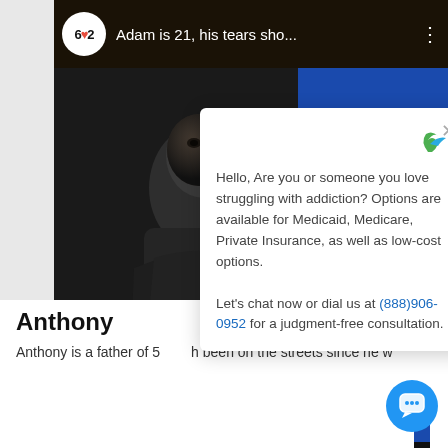[Figure (screenshot): Screenshot of a web page showing a video titled 'Adam is 21, his tears sho...' with a 602 viewer count badge. A chat popup overlay from an addiction treatment service is displayed, along with a bottom section showing 'Anthony' as the subject.]
Hello, Are you or someone you love struggling with addiction? Options are available for Medicaid, Medicare, Private Insurance, as well as low-cost options.
Let's chat now or dial us at (888)906-0952 for a judgment-free consultation.
Anthony
Anthony is a father of 5 he been on the streets since he w